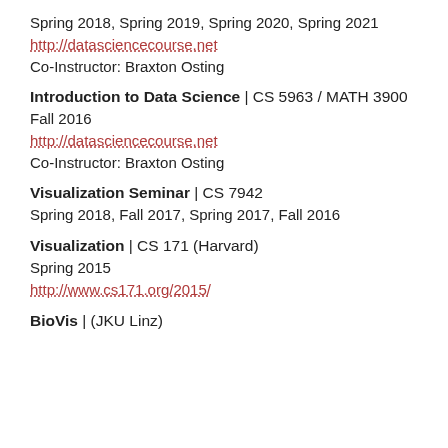Spring 2018, Spring 2019, Spring 2020, Spring 2021
http://datasciencecourse.net
Co-Instructor: Braxton Osting
Introduction to Data Science | CS 5963 / MATH 3900
Fall 2016
http://datasciencecourse.net
Co-Instructor: Braxton Osting
Visualization Seminar | CS 7942
Spring 2018, Fall 2017, Spring 2017, Fall 2016
Visualization | CS 171 (Harvard)
Spring 2015
http://www.cs171.org/2015/
BioVis | (JKU Linz)